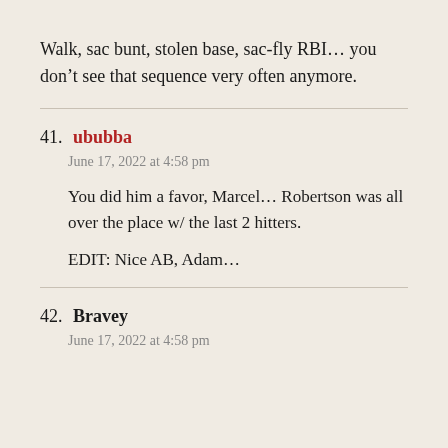Walk, sac bunt, stolen base, sac-fly RBI… you don't see that sequence very often anymore.
41. ububba
June 17, 2022 at 4:58 pm
You did him a favor, Marcel… Robertson was all over the place w/ the last 2 hitters.
EDIT: Nice AB, Adam…
42. Bravey
June 17, 2022 at 4:58 pm